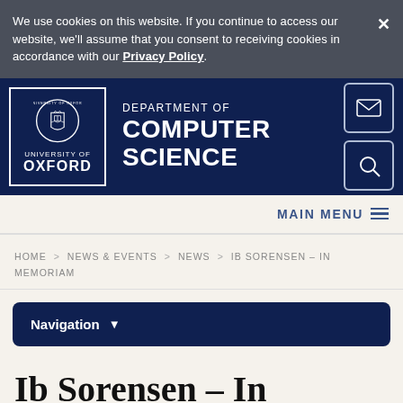We use cookies on this website. If you continue to access our website, we'll assume that you consent to receiving cookies in accordance with our Privacy Policy.
[Figure (logo): University of Oxford Department of Computer Science logo with crest and navigation icons]
MAIN MENU
HOME > NEWS & EVENTS > NEWS > IB SORENSEN – IN MEMORIAM
Navigation
Ib Sorensen – In